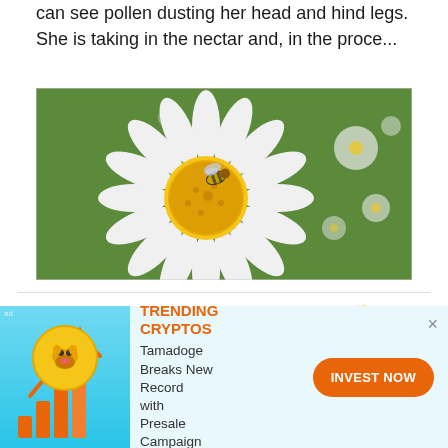can see pollen dusting her head and hind legs. She is taking in the nectar and, in the proce...
[Figure (photo): Close-up photograph of a honeybee on a large white daisy flower with a yellow center, surrounded by greenery and more white daisy flowers in the background.]
Old Woman with Flowers 🌼
1 minute read   valerianis   $0.04
[Figure (infographic): Advertisement banner: Trending Cryptos ad featuring a Shiba Inu dog coin with upward arrow and bar chart graphic. Text reads 'TRENDING CRYPTOS' in orange, 'Tamadoge Breaks New Record with Presale Campaign', and an orange 'INVEST NOW' button. Close (×) button in top right.]